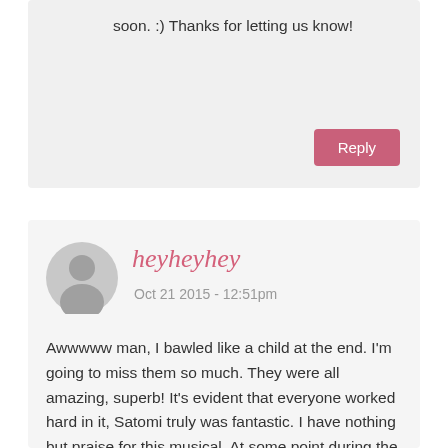soon. :) Thanks for letting us know!
Reply
heyheyhey
Oct 21 2015 - 12:51pm
[Figure (illustration): Gray circular avatar icon with silhouette of a person]
Awwwww man, I bawled like a child at the end. I'm going to miss them so much. They were all amazing, superb! It's evident that everyone worked hard in it, Satomi truly was fantastic. I have nothing but praise for this musical. At some point during the final battle, she looked as confident and royal as Tuxedo Mask (and s/he makes me swoon every time). The actress they picked for Hotaru was also strikingly good, in my opinion. The change from Hotaru to Mistress 9 to Sailor Saturn was convincing. The duo between her